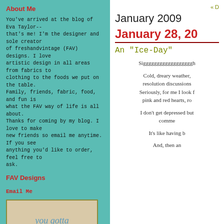About Me
You've arrived at the blog of Eva Taylor--that's me! I'm the designer and sole creator of freshandvintage (FAV) designs. I love artistic design in all areas from fabrics to clothing to the foods we put on the table. Family, friends, fabric, food, and fun is what the FAV way of life is all about. Thanks for coming by my blog. I love to make new friends so email me anytime. If you see anything you'd like to order, feel free to ask.
FAV Designs
Email Me
[Figure (illustration): Banner image with text 'you gotta see these.' in handwritten style lettering on a vintage/aged background]
« D
January 2009
January 28, 20
An "Ice-Day"
Siggggggggggggggggggh
Cold, dreary weather, resolution discussions Seriously, for me I look f pink and red hearts, ro
I don't get depressed but comme
It's like having b
And, then an